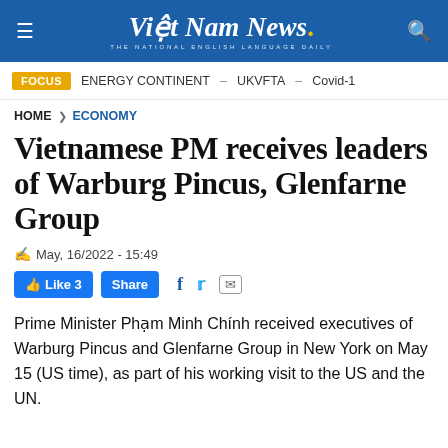Việt Nam News. THE NATIONAL ENGLISH LANGUAGE DAILY
FOCUS  ENERGY CONTINENT – UKVFTA – Covid-1
HOME > ECONOMY
Vietnamese PM receives leaders of Warburg Pincus, Glenfarne Group
May, 16/2022 - 15:49
Like 3  Share
Prime Minister Phạm Minh Chính received executives of Warburg Pincus and Glenfarne Group in New York on May 15 (US time), as part of his working visit to the US and the UN.